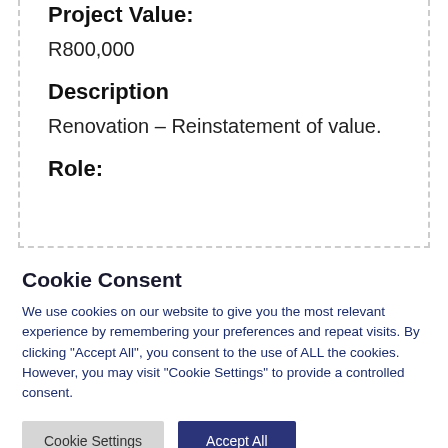Project Value:
R800,000
Description
Renovation – Reinstatement of value.
Role:
Cookie Consent
We use cookies on our website to give you the most relevant experience by remembering your preferences and repeat visits. By clicking "Accept All", you consent to the use of ALL the cookies. However, you may visit "Cookie Settings" to provide a controlled consent.